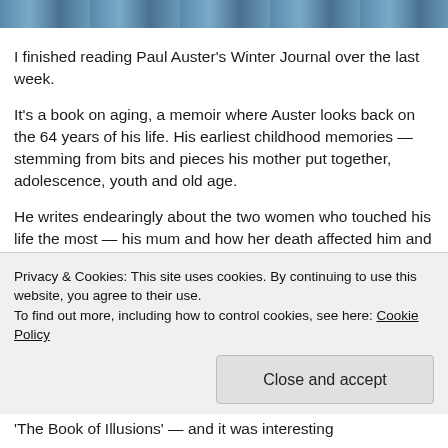[Figure (photo): Top strip of a photograph showing blurred blue/teal tones — appears to be a partial book cover or portrait image cropped at the top of the page.]
I finished reading Paul Auster's Winter Journal over the last week.
It's a book on aging, a memoir where Auster looks back on the 64 years of his life. His earliest childhood memories — stemming from bits and pieces his mother put together, adolescence, youth and old age.
He writes endearingly about the two women who touched his life the most — his mum and how her death affected him and his wife for...
Privacy & Cookies: This site uses cookies. By continuing to use this website, you agree to their use.
To find out more, including how to control cookies, see here: Cookie Policy
'The Book of Illusions' — and it was interesting